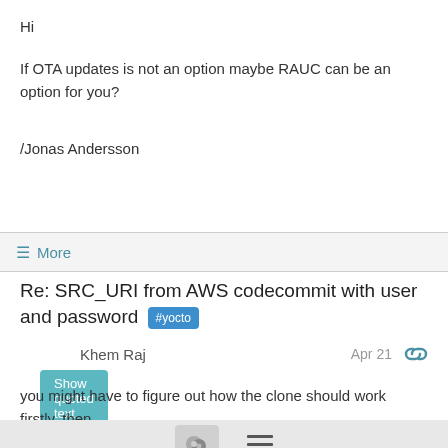Hi
If OTA updates is not an option maybe RAUC can be an option for you?
/Jonas Andersson
Show quoted text
≡ More
Re: SRC_URI from AWS codecommit with user and password #yocto
Khem Raj
Apr 21
you might have to figure out how the clone should work firstly. then